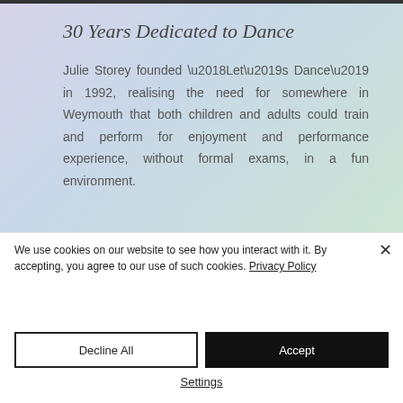30 Years Dedicated to Dance
Julie Storey founded ‘Let’s Dance’ in 1992, realising the need for somewhere in Weymouth that both children and adults could train and perform for enjoyment and performance experience, without formal exams, in a fun environment.
We use cookies on our website to see how you interact with it. By accepting, you agree to our use of such cookies. Privacy Policy
Decline All
Accept
Settings